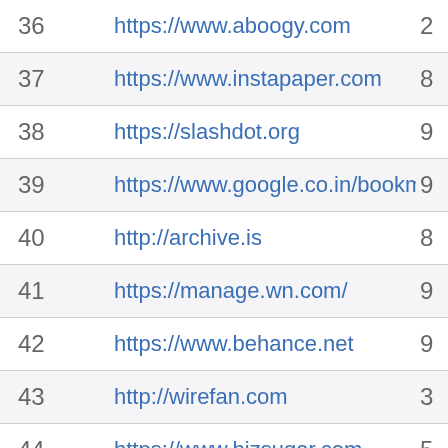| # | URL | Value |
| --- | --- | --- |
| 36 | https://www.aboogy.com | 2 |
| 37 | https://www.instapaper.com | 8 |
| 38 | https://slashdot.org | 9 |
| 39 | https://www.google.co.in/bookmarks/ | 9 |
| 40 | http://archive.is | 8 |
| 41 | https://manage.wn.com/ | 9 |
| 42 | https://www.behance.net | 9 |
| 43 | http://wirefan.com | 3 |
| 44 | https://www.bizsugar.com | 5 |